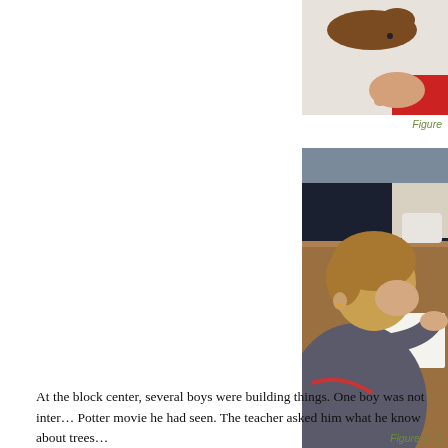[Figure (photo): Top portion of a photo showing a hand near a white surface with a brown object, child in red sleeve visible]
Figure
[Figure (photo): A young boy with blonde hair bending over a wooden table, working on something with his hands, wearing a grey jacket with red stripe detail]
Figure 4. C
At the block center, several boys were building things. One boy was not inter... Potter movie he had seen. The teacher asked him what he know about trees...